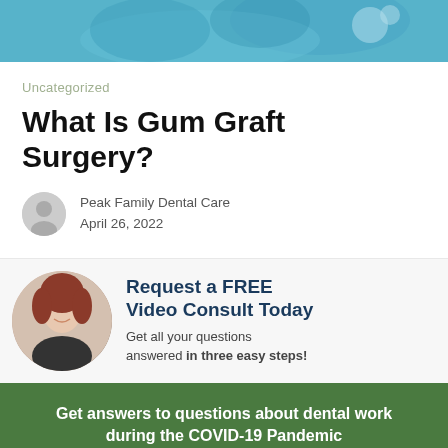[Figure (photo): Top banner photo of dental professionals in blue scrubs]
Uncategorized
What Is Gum Graft Surgery?
Peak Family Dental Care
April 26, 2022
[Figure (photo): Promotional banner with photo of smiling woman and text: Request a FREE Video Consult Today. Get all your questions answered in three easy steps!]
Get answers to questions about dental work during the COVID-19 Pandemic
Oral Health During COVID-19